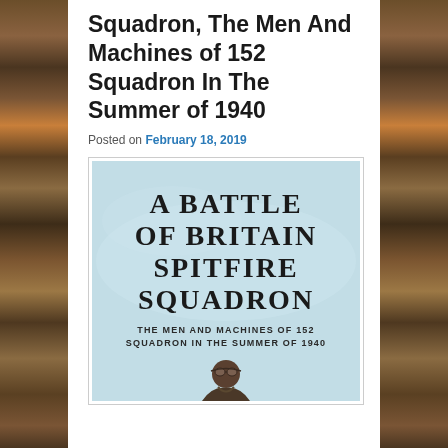Squadron, The Men And Machines of 152 Squadron In The Summer of 1940
Posted on February 18, 2019
[Figure (photo): Book cover of 'A Battle of Britain Spitfire Squadron: The Men and Machines of 152 Squadron in the Summer of 1940' with light blue background and a pilot figure at the bottom.]